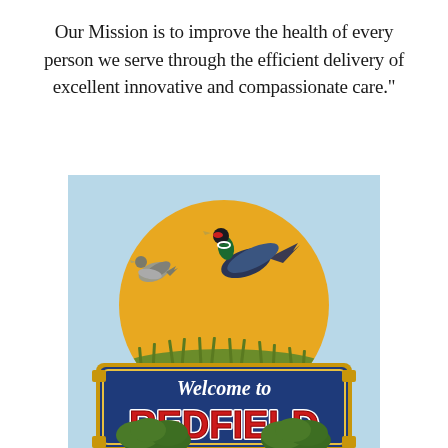Our Mission is to improve the health of every person we serve through the efficient delivery of excellent innovative and compassionate care."
[Figure (photo): Welcome to Redfield city sign — a large blue and gold sign with a gold semicircle at top showing two pheasants in flight over wheat/grass, mounted on blue sign reading 'Welcome to' in white italic text and 'REDFIELD' in large red block letters with white outline, against a light blue sky background with green shrubs at base.]